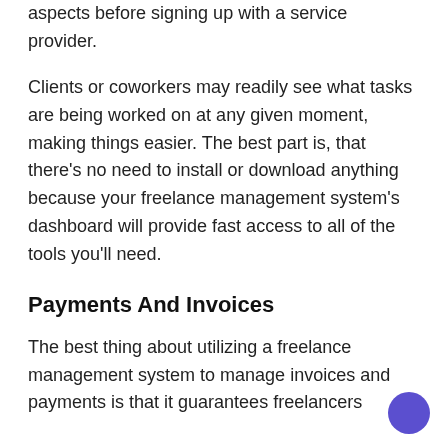aspects before signing up with a service provider.
Clients or coworkers may readily see what tasks are being worked on at any given moment, making things easier. The best part is, that there's no need to install or download anything because your freelance management system's dashboard will provide fast access to all of the tools you'll need.
Payments And Invoices
The best thing about utilizing a freelance management system to manage invoices and payments is that it guarantees freelancers